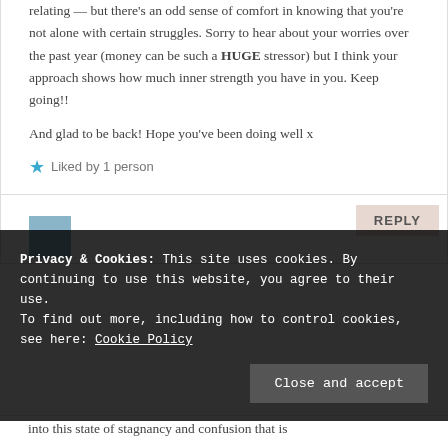relating — but there's an odd sense of comfort in knowing that you're not alone with certain struggles. Sorry to hear about your worries over the past year (money can be such a HUGE stressor) but I think your approach shows how much inner strength you have in you. Keep going!!
And glad to be back! Hope you've been doing well x
Liked by 1 person
REPLY
Privacy & Cookies: This site uses cookies. By continuing to use this website, you agree to their use. To find out more, including how to control cookies, see here: Cookie Policy
Close and accept
into this state of stagnancy and confusion that is